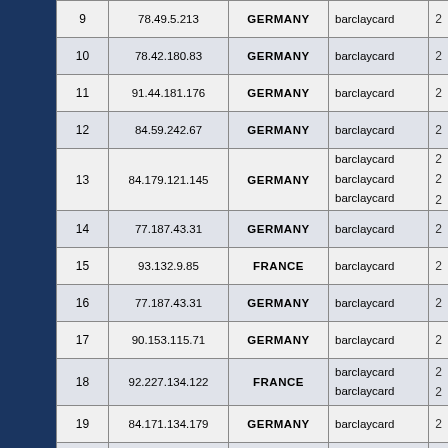| # | IP Address | Country | Service | ... |
| --- | --- | --- | --- | --- |
| 9 | 78.49.5.213 | GERMANY | barclaycard | 2 |
| 10 | 78.42.180.83 | GERMANY | barclaycard | 2 |
| 11 | 91.44.181.176 | GERMANY | barclaycard | 2 |
| 12 | 84.59.242.67 | GERMANY | barclaycard | 2 |
| 13 | 84.179.121.145 | GERMANY | barclaycard / barclaycard / barclaycard | 2/2/2 |
| 14 | 77.187.43.31 | GERMANY | barclaycard | 2 |
| 15 | 93.132.9.85 | FRANCE | barclaycard | 2 |
| 16 | 77.187.43.31 | GERMANY | barclaycard | 2 |
| 17 | 90.153.115.71 | GERMANY | barclaycard | 2 |
| 18 | 92.227.134.122 | FRANCE | barclaycard / barclaycard | 2/2 |
| 19 | 84.171.134.179 | GERMANY | barclaycard | 2 |
| 20 | 195.93.60.73 | UNITED KINGDOM | barclaycard | 2 |